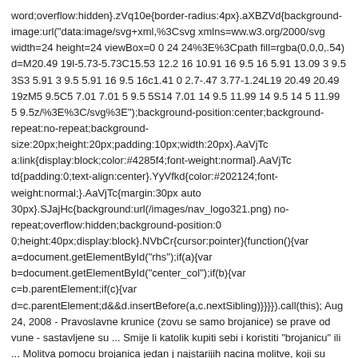word;overflow:hidden}.zVq10e{border-radius:4px}.aXBZVd{background-image:url("data:image/svg+xml,%3Csvg xmlns=ww.w3.org/2000/svg width=24 height=24 viewBox=0 0 24 24%3E%3Cpath fill=rgba(0,0,0,.54) d=M20.49 19l-5.73-5.73C15.53 12.2 16 10.91 16 9.5 16 5.91 13.09 3 9.5 3S3 5.91 3 9.5 5.91 16 9.5 16c1.41 0 2.7-.47 3.77-1.24L19 20.49 20.49 19zM5 9.5C5 7.01 7.01 5 9.5 5S14 7.01 14 9.5 11.99 14 9.5 14 5 11.99 5 9.5z/%3E%3C/svg%3E");background-position:center;background-repeat:no-repeat;background-size:20px;height:20px;padding:10px;width:20px}.AaVjTc a:link{display:block;color:#4285f4;font-weight:normal}.AaVjTc td{padding:0;text-align:center}.YyVfkd{color:#202124;font-weight:normal;}.AaVjTc{margin:30px auto 30px}.SJajHc{background:url(/images/nav_logo321.png) no-repeat;overflow:hidden;background-position:0 0;height:40px;display:block}.NVbCr{cursor:pointer}(function(){var a=document.getElementById("rhs");if(a){var b=document.getElementById("center_col");if(b){var c=b.parentElement;if(c){var d=c.parentElement;d&&d.insertBefore(a,c.nextSibling)}}}}).call(this); Aug 24, 2008 - Pravoslavne krunice (zovu se samo brojanice) se prave od vune - sastavljene su ... Smije li katolik kupiti sebi i koristiti "brojanicu" ili ... Molitva pomocu brojanica jedan j najstarijih nacina molitve, koji su narocito negovali pravoslavni monasi. Same brojar imaju simbolicki karakter. Pravoslavna brojanica - kako pravilno sortirati i moliti se n brojanici ... četke je vrlo jednostavna, samo trebate kupiti konac u običnoj šivaćoj ra Brojanica sa kičankom od 50 čvorova. Idealna za retrovizor vašeg automobila.